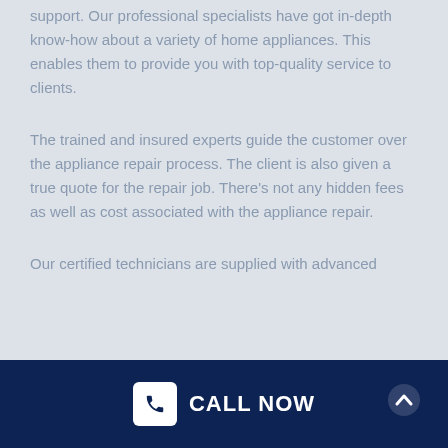support. Our professional specialists have got in-depth know-how about a variety of home appliances. This enables them to provide you with top-quality service to clients.
The trained and insured experts guide the customer over the appliance repair process. The client is also given a true quote for the repair job. There's not any hidden fees as well as cost associated with the appliance repair.
Our certified technicians are supplied with advanced
CALL NOW